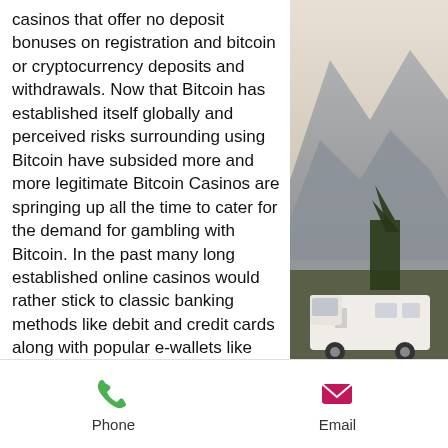casinos that offer no deposit bonuses on registration and bitcoin or cryptocurrency deposits and withdrawals. Now that Bitcoin has established itself globally and perceived risks surrounding using Bitcoin have subsided more and more legitimate Bitcoin Casinos are springing up all the time to cater for the demand for gambling with Bitcoin. In the past many long established online casinos would rather stick to classic banking methods like debit and credit cards along with popular e-wallets like PayPal or Neteller, is www.bitstarz.com legit.
Join sloto cash casino to enjoy a welcome gift of $31 free chip! absolutely no deposit required. Use the promo code: 31free for redemption and the free chip. Welcome to slots 7 casino. We offer ✓ no deposit bonus of $100 and welcome deposit bonus of 350%...
[Figure (photo): Mountain landscape with hills in background and a white RV/camper vehicle parked in the lower right area, with trees visible]
Phone   Email